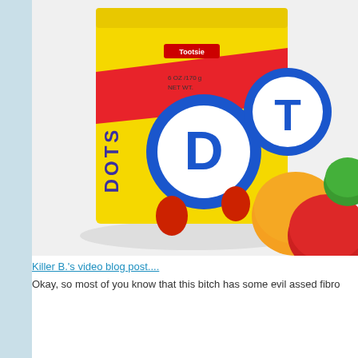[Figure (photo): Photo of a yellow box of Dots Tootsie brand fruit-flavored gumdrops candy, with colorful gumdrop candies (orange, red, green) visible next to the box.]
Killer B.'s video blog post....
Okay, so most of you know that this bitch has some evil assed fibro